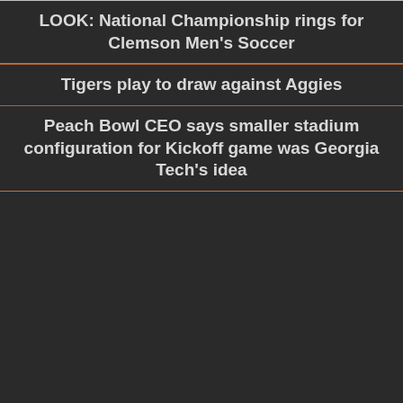LOOK: National Championship rings for Clemson Men's Soccer
Tigers play to draw against Aggies
Peach Bowl CEO says smaller stadium configuration for Kickoff game was Georgia Tech's idea